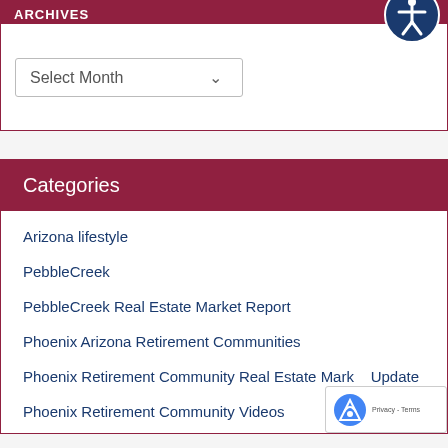Archives
[Figure (screenshot): Select Month dropdown form element]
Categories
Arizona lifestyle
PebbleCreek
PebbleCreek Real Estate Market Report
Phoenix Arizona Retirement Communities
Phoenix Retirement Community Real Estate Market Update
Phoenix Retirement Community Videos